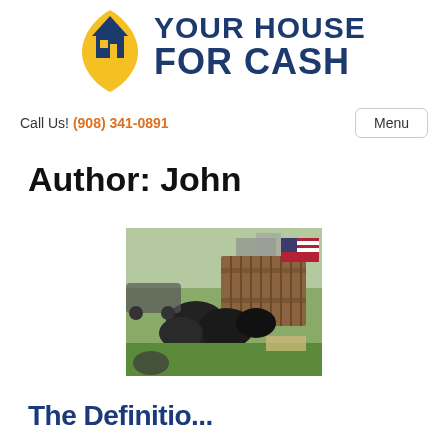[Figure (logo): Your House For Cash logo with a house icon in yellow and blue and bold text reading YOUR HOUSE FOR CASH]
Call Us! (908) 341-0891
Menu
Author: John
[Figure (photo): Outdoor photo showing trash bags, wooden pallets, and an American flag in a yard]
The Definitio...